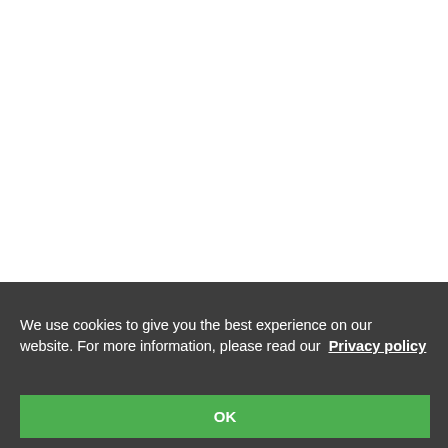[Figure (other): Word cloud / tag index of scientific keywords, partially visible on the right side of the page. Terms include: farm (1), farm implement (1), fats, fatty acids concentration (1), Fe, fertilization (large), fertilizing period (1), fescue (1), field with irregular shape (1), fire, fluorescence spectroscopy (1), fo-, foliar fertilizer (1), foliar fertilizers, food regime (1), food safety (1), forage productivity (2), fora-, freezing of fruit buds (1), fresh we-, fruit characteristics (1), fruit chem-, fruit trees (1), fruit weight (large), fungal species (1), fungi micromy-, um (1), Fusarium culmorun, fuzarium wilt (1), G. hirsutun (large), gene pool (1), general combining, -ity (3) gene-, genotype environment interaction, genotype x environment interactio-, environment interactions (1), ger-, germination energy (1), gibberel-, Glomus sp. (1), glutamine (1), gl-]
We use cookies to give you the best experience on our website. For more information, please read our Privacy policy
OK